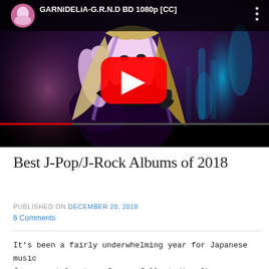[Figure (screenshot): YouTube video thumbnail showing GARNiDELiA-G.R.N.D BD 1080p [CC] — a female performer with long blonde/purple hair in a dark outfit against a nightclub background, with YouTube play button overlay and video title bar.]
Best J-Pop/J-Rock Albums of 2018
PUBLISHED ON December 20, 2018
6 Comments
It's been a fairly underwhelming year for Japanese music for me, at least as far as full studio albums are concerned.